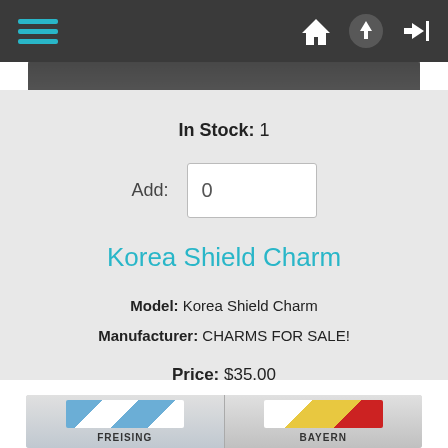Navigation bar with hamburger menu and icons
[Figure (photo): Top partial product photo — dark/blurry charm image cropped at top of page]
In Stock: 1
Add: 0
Korea Shield Charm
Model: Korea Shield Charm
Manufacturer: CHARMS FOR SALE!
Price: $35.00
Weight: 0lbs
marked on back 835
[Figure (photo): Two shield charms showing FREISING and BAYERN text with colorful enamel designs]